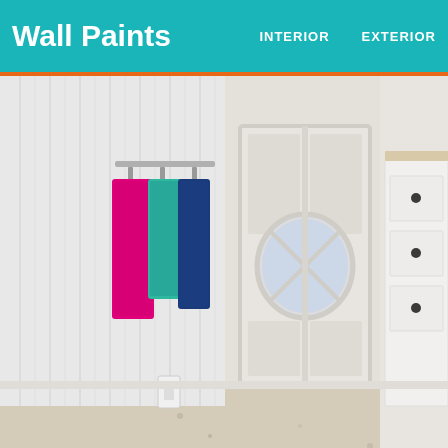Wall Paints | INTERIOR | EXTERIOR
[Figure (photo): Bathroom interior with colorful towels hanging on hooks on a beadboard wall, a white French door with oval glass panel, speckled tile floor, and white chest of drawers on the right.]
Best Bathroom Ceiling Designs Decorating Ideas Design Trends Premium Ps